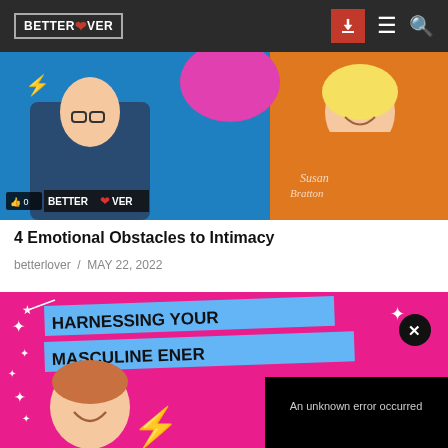BETTER LOVER
[Figure (screenshot): Thumbnail for '4 Emotional Obstacles to Intimacy' video showing two people on blue/orange background with Better Lover logo and like count 0]
4 Emotional Obstacles to Intimacy
betterlover  /  MAY 22, 2022
[Figure (screenshot): Thumbnail for 'Harnessing Your Masculine Energy' video on pink background with blue banner text, close button, and error overlay reading 'An unknown error occurred']